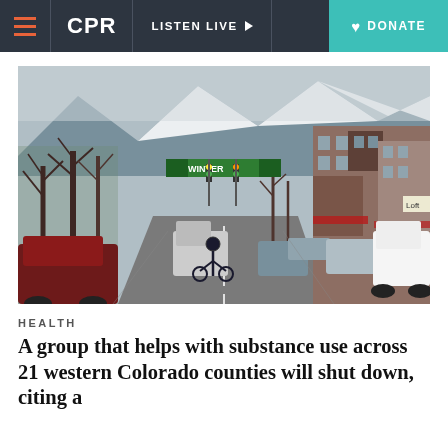CPR | LISTEN LIVE | DONATE
[Figure (photo): Street view of a downtown Colorado town in winter, with bare trees, snow-capped mountains in the background, brick buildings on the right, a cyclist in the road, parked cars, and a green 'Winter' banner sign spanning the street.]
HEALTH
A group that helps with substance use across 21 western Colorado counties will shut down, citing a